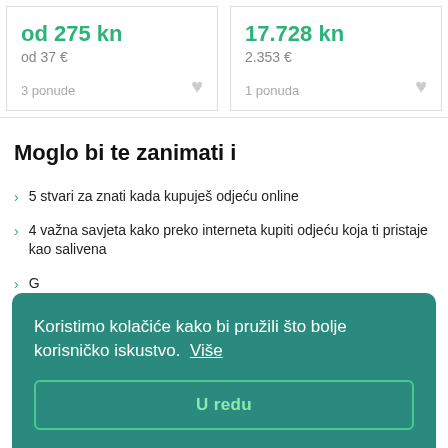od 275 kn
od 37 €
3 ponude
17.728 kn
2.353 €
1 ponuda
Moglo bi te zanimati i
5 stvari za znati kada kupuješ odjeću online
4 važna savjeta kako preko interneta kupiti odjeću koja ti pristaje kao salivena
G
V
S
Koristimo kolačiće kako bi pružili što bolje korisničko iskustvo.  Više
U redu